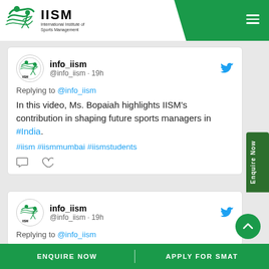[Figure (logo): IISM International Institute of Sports Management logo with green bird/athlete icon]
info_iism @info_iism · 19h
Replying to @info_iism
In this video, Ms. Bopaiah highlights IISM's contribution in shaping future sports managers in #India.
#iism #iismmumbai #iismstudents
info_iism @info_iism · 19h
Replying to @info_iism
ENQUIRE NOW    APPLY FOR SMAT